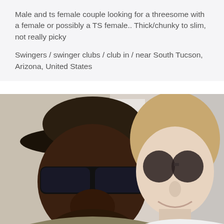Male and ts female couple looking for a threesome with a female or possibly a TS female.. Thick/chunky to slim, not really picky
Swingers / swinger clubs / club in / near South Tucson, Arizona, United States
[Figure (photo): A couple taking a selfie photo. On the left is a man wearing a wide-brimmed hat and dark wraparound sunglasses. On the right is a woman with light hair wearing round dark sunglasses. They appear to be in an indoor location.]